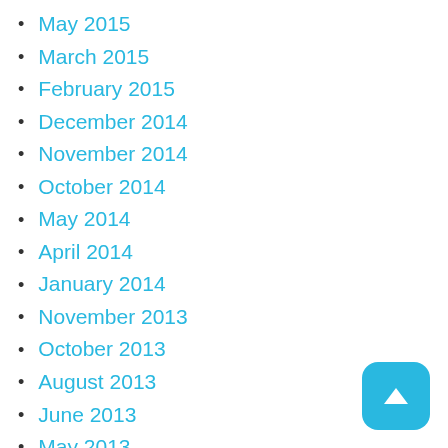May 2015
March 2015
February 2015
December 2014
November 2014
October 2014
May 2014
April 2014
January 2014
November 2013
October 2013
August 2013
June 2013
May 2013
March 2013